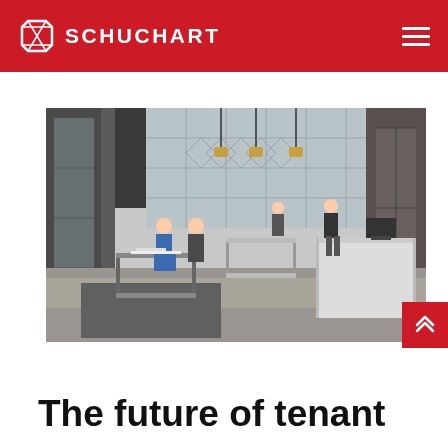SCHUCHART
[Figure (photo): Interior of a modern open-plan office with industrial-style ceiling, large windows, pendant lights, multiple workstations with white desks, and several people working or walking around.]
The future of tenant